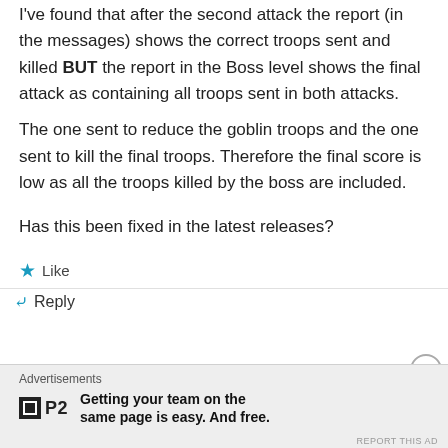I've found that after the second attack the report (in the messages) shows the correct troops sent and killed BUT the report in the Boss level shows the final attack as containing all troops sent in both attacks. The one sent to reduce the goblin troops and the one sent to kill the final troops. Therefore the final score is low as all the troops killed by the boss are included.

Has this been fixed in the latest releases?
Like
Reply
Advertisements
Getting your team on the same page is easy. And free.